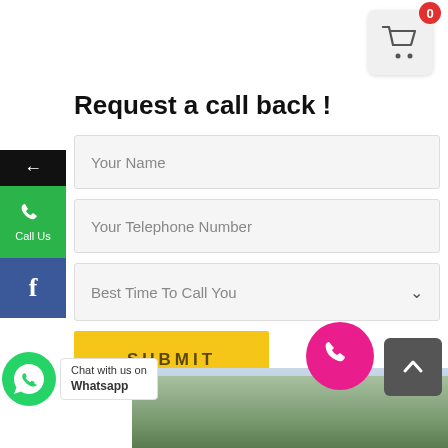[Figure (other): Shopping cart icon with red badge showing 0 in top right corner]
Request a call back !
[Figure (other): Web form with fields: Your Name, Your Telephone Number, Best Time To Call You (dropdown), and a yellow SUBMIT button]
[Figure (other): Left sidebar with back arrow (black), Call Us button (green with phone icon), and Facebook button (blue)]
[Figure (other): WhatsApp chat button with label 'Chat with us on Whatsapp']
[Figure (other): Pink floating phone call button]
[Figure (other): Dark grey scroll-to-top button with upward arrow]